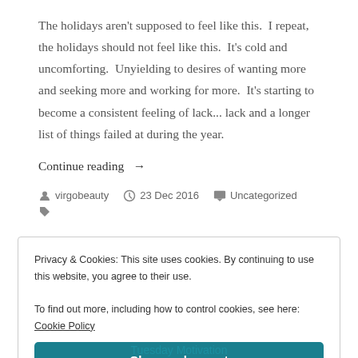The holidays aren't supposed to feel like this.  I repeat, the holidays should not feel like this.  It's cold and uncomforting.  Unyielding to desires of wanting more and seeking more and working for more.  It's starting to become a consistent feeling of lack... lack and a longer list of things failed at during the year.
Continue reading →
virgobeauty   23 Dec 2016   Uncategorized
Privacy & Cookies: This site uses cookies. By continuing to use this website, you agree to their use.
To find out more, including how to control cookies, see here: Cookie Policy
Close and accept
Tuesday Motivation